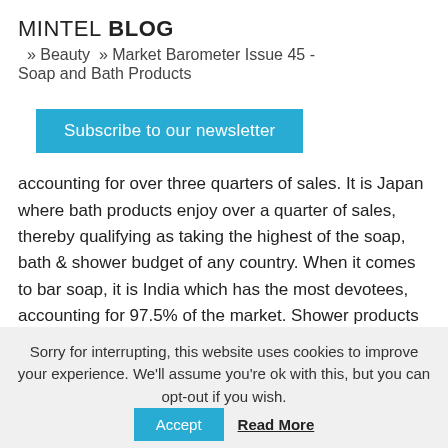MINTEL BLOG » Beauty » Market Barometer Issue 45 - Soap and Bath Products
Subscribe to our newsletter
accounting for over three quarters of sales. It is Japan where bath products enjoy over a quarter of sales, thereby qualifying as taking the highest of the soap, bath & shower budget of any country. When it comes to bar soap, it is India which has the most devotees, accounting for 97.5% of the market. Shower products and liquid soaps are yet to blossom but have much potential.
Sorry for interrupting, this website uses cookies to improve your experience. We'll assume you're ok with this, but you can opt-out if you wish.
Accept
Read More